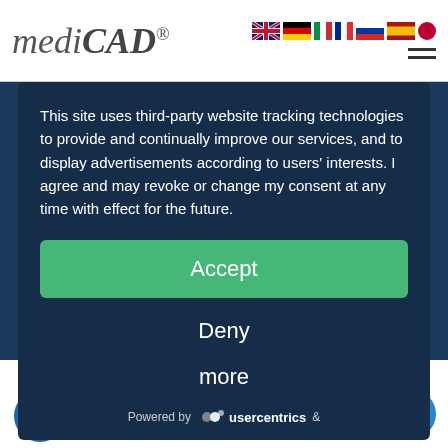[Figure (logo): mediCAD logo in italic serif font with registered trademark symbol]
[Figure (infographic): Row of country flag icons: UK, Germany, Italy, France, Russia, Spain, Japan]
This site uses third-party website tracking technologies to provide and continually improve our services, and to display advertisements according to users' interests. I agree and may revoke or change my consent at any time with effect for the future.
Accept
Deny
more
Powered by  usercentrics  &
nuova versione di
mediCAD® 2D/3D Knee
mediCAD 2D/3D Spine